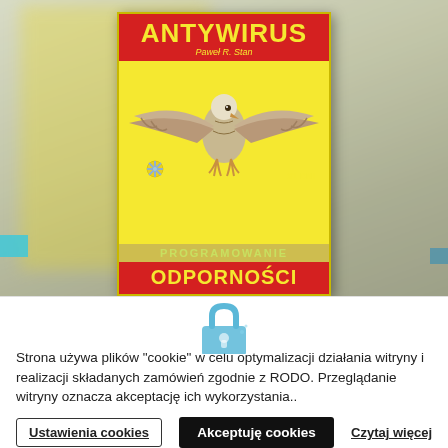[Figure (illustration): Book cover for 'Antywirus' by Pawel R. Stan displayed against a blurred background. The cover has a yellow background with a red top bar showing 'ANTYWIRUS' in yellow bold text, an eagle/hawk with spread wings in the center, a sunburst/snowflake icon and '31 DNI' text on the lower portion, 'PROGRAMOWANIE' in a khaki bar, and 'ODPORNOSCI' in a large yellow font on a red bottom bar.]
[Figure (illustration): Partial view of a padlock icon in light blue/cyan color, partially visible at the bottom of the image section.]
Strona używa plików "cookie" w celu optymalizacji działania witryny i realizacji składanych zamówień zgodnie z RODO. Przeglądanie witryny oznacza akceptację ich wykorzystania..
Ustawienia cookies | Akceptuję cookies | Czytaj więcej